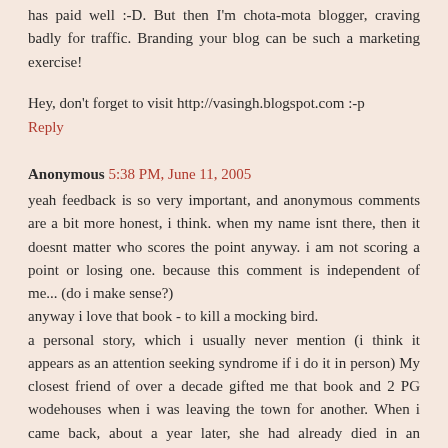has paid well :-D. But then I'm chota-mota blogger, craving badly for traffic. Branding your blog can be such a marketing exercise!
Hey, don't forget to visit http://vasingh.blogspot.com :-p
Reply
Anonymous 5:38 PM, June 11, 2005
yeah feedback is so very important, and anonymous comments are a bit more honest, i think. when my name isnt there, then it doesnt matter who scores the point anyway. i am not scoring a point or losing one. because this comment is independent of me... (do i make sense?)
anyway i love that book - to kill a mocking bird.
a personal story, which i usually never mention (i think it appears as an attention seeking syndrome if i do it in person) My closest friend of over a decade gifted me that book and 2 PG wodehouses when i was leaving the town for another. When i came back, about a year later, she had already died in an accident.